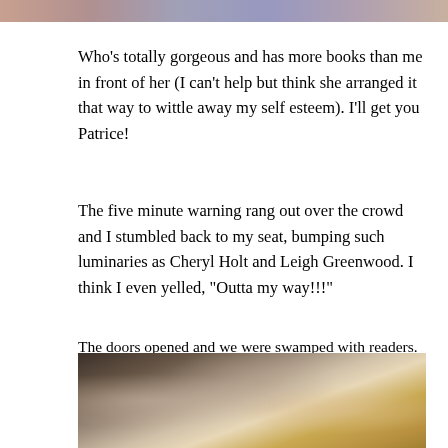[Figure (photo): Top strip of a photo, partially cropped, showing colorful background]
Who's totally gorgeous and has more books than me in front of her (I can't help but think she arranged it that way to wittle away my self esteem). I'll get you Patrice!
The five minute warning rang out over the crowd and I stumbled back to my seat, bumping such luminaries as Cheryl Holt and Leigh Greenwood. I think I even yelled, "Outta my way!!!"
The doors opened and we were swamped with readers. I sold out of my stash in less than an hour and spent the rest of the time apologizing and collecting addresses to send signed bookplates. But for me, the main event didn't happen until Plague Carrier #1 and Todd arrived.
[Figure (photo): Bottom photo showing a crowded indoor scene with people seated, warm golden light on the right side]